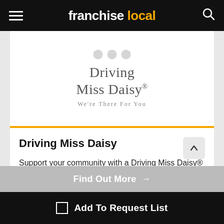franchise local
[Figure (logo): Driving Miss Daisy logo with tagline 'We're There For You']
Driving Miss Daisy
Support your community with a Driving Miss Daisy® Franchise. A caring, assisted transportation and ...
Min. Investment: £10,000
Find Out More →
Add To Request List